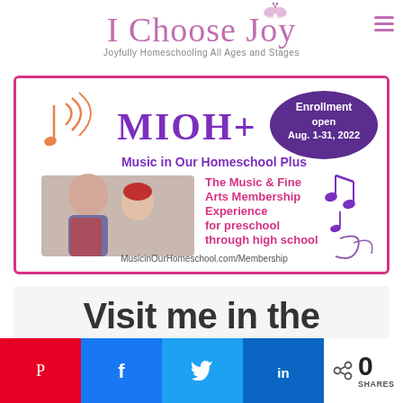I Choose Joy — Joyfully Homeschooling All Ages and Stages
[Figure (infographic): MIOH+ Music in Our Homeschool Plus advertisement banner. Enrollment open Aug. 1-31, 2022. The Music & Fine Arts Membership Experience for preschool through high school. MusicinOurHomeschool.com/Membership. Shows photo of woman and child, musical notes decorations.]
Visit me in the
[Figure (infographic): Social share bar with Pinterest (red), Facebook (blue), Twitter (light blue), LinkedIn (dark blue) buttons and share count showing 0 SHARES]